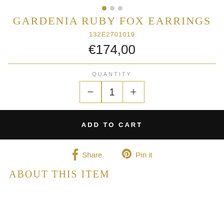[Figure (other): Image carousel dot indicators: one filled gold dot and two grey dots]
GARDENIA RUBY FOX EARRINGS
132E2701019
€174,00
QUANTITY
- 1 +
ADD TO CART
Share   Pin it
ABOUT THIS ITEM